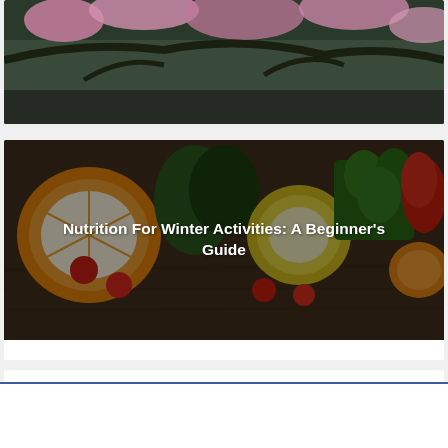[Figure (photo): Partial cherry blossom tree photo, cropped at top]
[Figure (photo): Vegetables and fruits photo (oranges, tomatoes, red pepper, herbs, lemon) with dark overlay and centered white title text]
Nutrition For Winter Activities: A Beginner's Guide
Leave a Comment
infolinks
Belk.com - Belk® - Official Site
Shop for clothing, handbags, jewelry, beauty, home & more!
www.belk.com